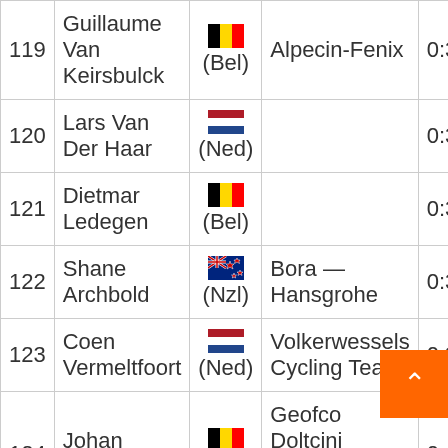| # | Name | Country | Team | Time |
| --- | --- | --- | --- | --- |
| 119 | Guillaume Van Keirsbulck | Bel | Alpecin-Fenix | 0:38:4… |
| 120 | Lars Van Der Haar | Ned |  | 0:38:4… |
| 121 | Dietmar Ledegen | Bel |  | 0:39:2… |
| 122 | Shane Archbold | Nzl | Bora — Hansgrohe | 0:39:2… |
| 123 | Coen Vermeltfoort | Ned | Volkerwessels Cycling Team | 0:39:3… |
| 124 | Johan Vincent | Bel | Geofco Doltcini Materiel-Velo.Com | 0:47:0… |
| 125 | … | Bel | … | 0:… |